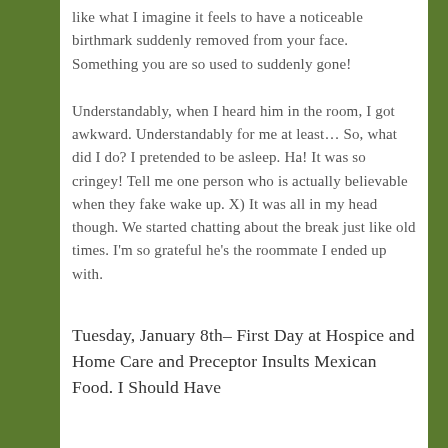like what I imagine it feels to have a noticeable birthmark suddenly removed from your face. Something you are so used to suddenly gone!
Understandably, when I heard him in the room, I got awkward. Understandably for me at least… So, what did I do? I pretended to be asleep. Ha! It was so cringey! Tell me one person who is actually believable when they fake wake up. X) It was all in my head though. We started chatting about the break just like old times. I'm so grateful he's the roommate I ended up with.
Tuesday, January 8th– First Day at Hospice and Home Care and Preceptor Insults Mexican Food. I Should Have